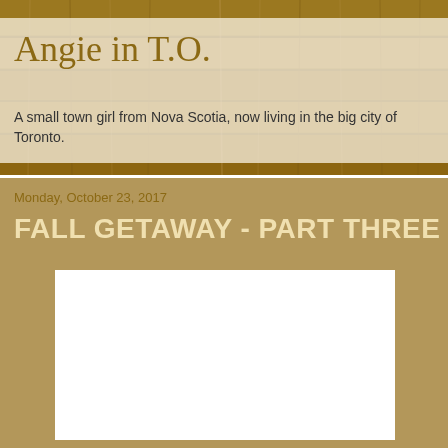Angie in T.O.
A small town girl from Nova Scotia, now living in the big city of Toronto.
Monday, October 23, 2017
FALL GETAWAY - PART THREE
[Figure (photo): White rectangular image placeholder area on tan/khaki background]